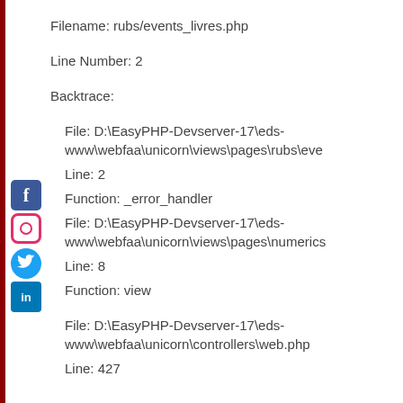Filename: rubs/events_livres.php
Line Number: 2
Backtrace:
File: D:\EasyPHP-Devserver-17\eds-www\webfaa\unicorn\views\pages\rubs\eve
Line: 2
Function: _error_handler
File: D:\EasyPHP-Devserver-17\eds-www\webfaa\unicorn\views\pages\numerics
Line: 8
Function: view
File: D:\EasyPHP-Devserver-17\eds-www\webfaa\unicorn\controllers\web.php
Line: 427